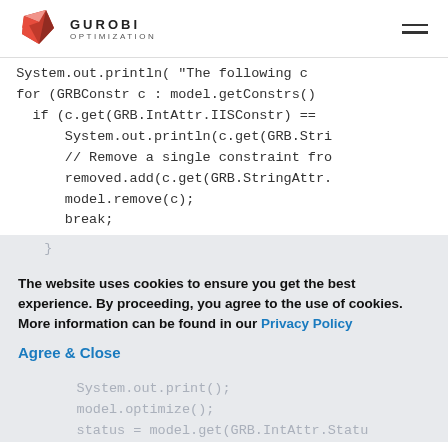GUROBI OPTIMIZATION
System.out.println( "The following c
  for (GRBConstr c : model.getConstrs()
    if (c.get(GRB.IntAttr.IISConstr) ==
        System.out.println(c.get(GRB.Stri
        // Remove a single constraint fro
        removed.add(c.get(GRB.StringAttr.
        model.remove(c);
        break;
}
The website uses cookies to ensure you get the best experience. By proceeding, you agree to the use of cookies. More information can be found in our Privacy Policy
Agree & Close
System.out.print();
    model.optimize();
    status = model.get(GRB.IntAttr.Statu